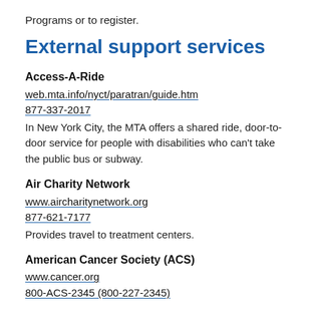Programs or to register.
External support services
Access-A-Ride
web.mta.info/nyct/paratran/guide.htm
877-337-2017
In New York City, the MTA offers a shared ride, door-to-door service for people with disabilities who can't take the public bus or subway.
Air Charity Network
www.aircharitynetwork.org
877-621-7177
Provides travel to treatment centers.
American Cancer Society (ACS)
www.cancer.org
800-ACS-2345 (800-227-2345)